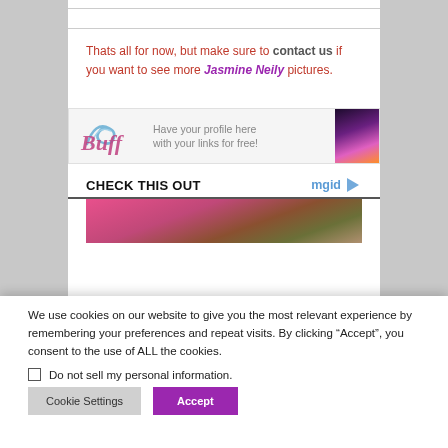Thats all for now, but make sure to contact us if you want to see more Jasmine Neily pictures.
[Figure (infographic): BUFF logo banner ad with text 'Have your profile here with your links for free!' and a photo of a woman on the right]
CHECK THIS OUT
[Figure (photo): Partial photo preview of a woman with pink background, part of mgid content widget]
We use cookies on our website to give you the most relevant experience by remembering your preferences and repeat visits. By clicking “Accept”, you consent to the use of ALL the cookies.
Do not sell my personal information.